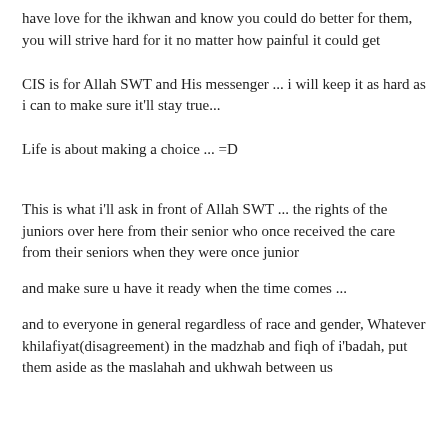have love for the ikhwan and know you could do better for them, you will strive hard for it no matter how painful it could get
CIS is for Allah SWT and His messenger ... i will keep it as hard as i can to make sure it'll stay true...
Life is about making a choice ... =D
This is what i'll ask in front of Allah SWT ... the rights of the juniors over here from their senior who once received the care from their seniors when they were once junior
and make sure u have it ready when the time comes ...
and to everyone in general regardless of race and gender, Whatever khilafiyat(disagreement) in the madzhab and fiqh of i'badah, put them aside as the maslahah and ukhwah between us